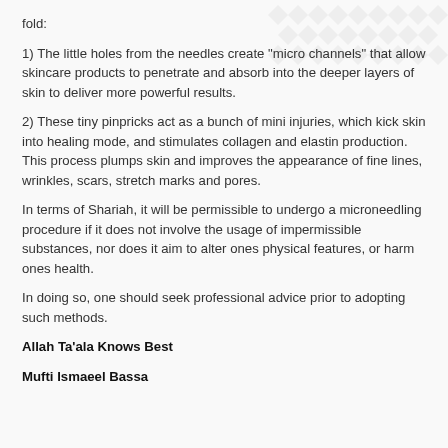fold:
1) The little holes from the needles create "micro channels" that allow skincare products to penetrate and absorb into the deeper layers of skin to deliver more powerful results.
2) These tiny pinpricks act as a bunch of mini injuries, which kick skin into healing mode, and stimulates collagen and elastin production. This process plumps skin and improves the appearance of fine lines, wrinkles, scars, stretch marks and pores.
In terms of Shariah, it will be permissible to undergo a microneedling procedure if it does not involve the usage of impermissible substances, nor does it aim to alter ones physical features, or harm ones health.
In doing so, one should seek professional advice prior to adopting such methods.
Allah Ta'ala Knows Best
Mufti Ismaeel Bassa